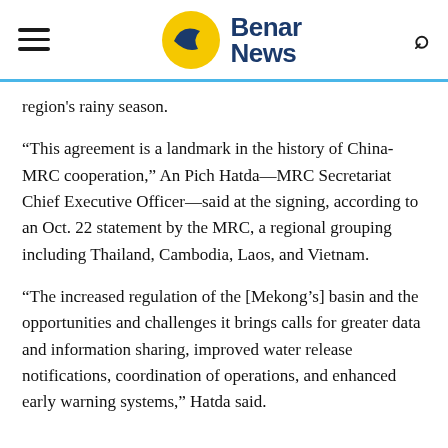Benar News
region's rainy season.
“This agreement is a landmark in the history of China-MRC cooperation,” An Pich Hatda—MRC Secretariat Chief Executive Officer—said at the signing, according to an Oct. 22 statement by the MRC, a regional grouping including Thailand, Cambodia, Laos, and Vietnam.
“The increased regulation of the [Mekong’s] basin and the opportunities and challenges it brings calls for greater data and information sharing, improved water release notifications, coordination of operations, and enhanced early warning systems,” Hatda said.